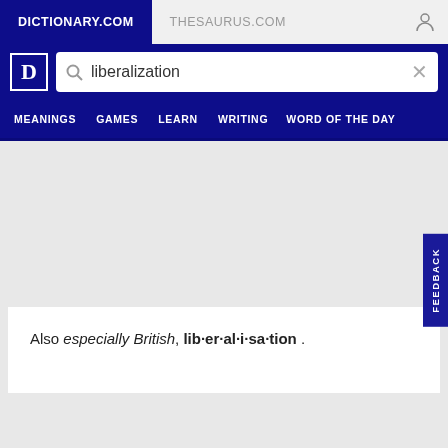DICTIONARY.COM   THESAURUS.COM
liberalization
MEANINGS   GAMES   LEARN   WRITING   WORD OF THE DAY
Also especially British, lib·er·al·i·sa·tion .